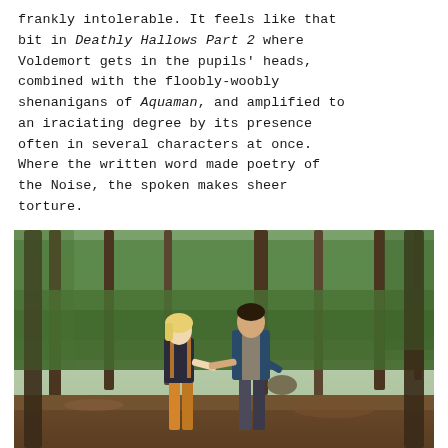frankly intolerable. It feels like that bit in Deathly Hallows Part 2 where Voldemort gets in the pupils' heads, combined with the floobly-woobly shenanigans of Aquaman, and amplified to an iraciating degree by its presence often in several characters at once. Where the written word made poetry of the Noise, the spoken makes sheer torture.
[Figure (photo): Two young people running through a forest. A blonde woman in a plaid shirt and orange pants holds hands with a young man in a denim jacket, both moving quickly through tall trees.]